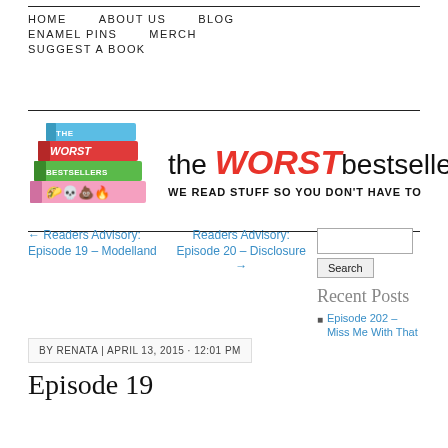HOME   ABOUT US   BLOG   ENAMEL PINS   MERCH   SUGGEST A BOOK
[Figure (logo): The Worst Bestsellers logo: stacked colorful books with emoji, and text 'the WORST bestsellers — WE READ STUFF SO YOU DON'T HAVE TO']
← Readers Advisory: Episode 19 – Modelland
Readers Advisory: Episode 20 – Disclosure →
BY RENATA | APRIL 13, 2015 · 12:01 PM
Episode 19
Search
Recent Posts
Episode 202 – Miss Me With That